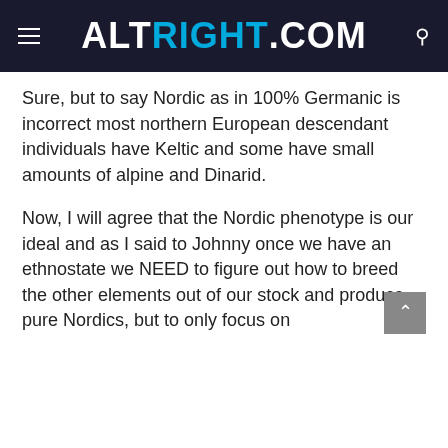ALTRIGHT.COM
Sure, but to say Nordic as in 100% Germanic is incorrect most northern European descendant individuals have Keltic and some have small amounts of alpine and Dinarid.
Now, I will agree that the Nordic phenotype is our ideal and as I said to Johnny once we have an ethnostate we NEED to figure out how to breed the other elements out of our stock and produce pure Nordics, but to only focus on